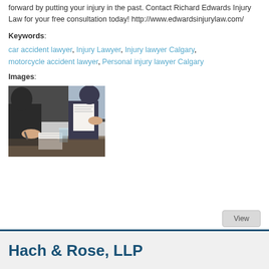forward by putting your injury in the past. Contact Richard Edwards Injury Law for your free consultation today! http://www.edwardsinjurylaw.com/
Keywords: car accident lawyer, Injury Lawyer, Injury lawyer Calgary, motorcycle accident lawyer, Personal injury lawyer Calgary
Images:
[Figure (photo): People in business attire sitting at a table reviewing documents, appearing to be in a legal consultation setting.]
View
Hach & Rose, LLP